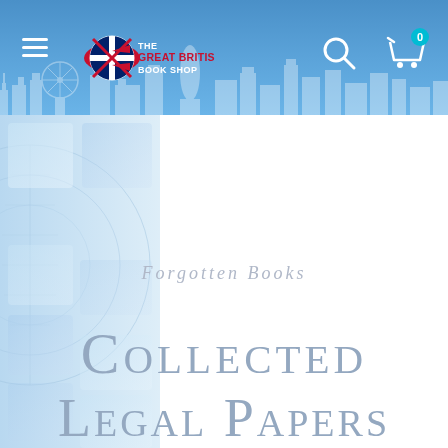[Figure (screenshot): The Great British Book Shop website header with logo, hamburger menu, search icon, and cart icon with badge showing 0]
[Figure (illustration): Book cover with blue gradient decorative left panel featuring globe/circle motifs and light blue square tiles]
Forgotten Books
Collected Legal Papers